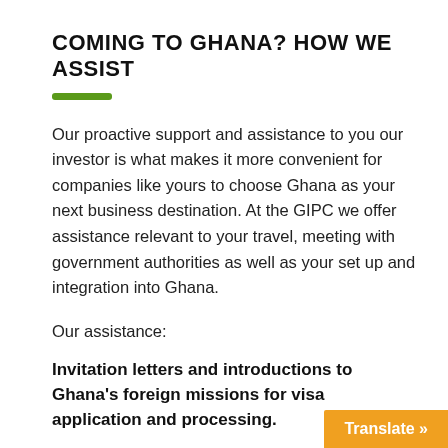COMING TO GHANA? HOW WE ASSIST
Our proactive support and assistance to you our investor is what makes it more convenient for companies like yours to choose Ghana as your next business destination. At the GIPC we offer assistance relevant to your travel, meeting with government authorities as well as your set up and integration into Ghana.
Our assistance:
Invitation letters and introductions to Ghana’s foreign missions for visa application and processing.
As a first step in orienting potential investors to Ghana, the Centre assists with invitation letters
Translate »